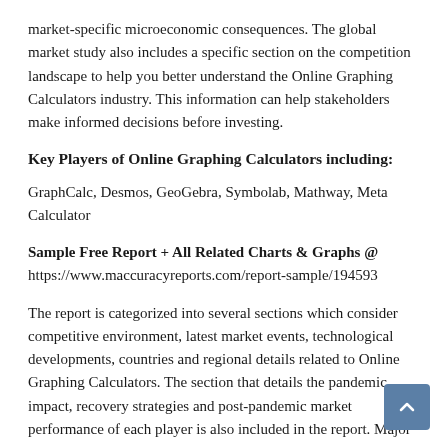market-specific microeconomic consequences. The global market study also includes a specific section on the competition landscape to help you better understand the Online Graphing Calculators industry. This information can help stakeholders make informed decisions before investing.
Key Players of Online Graphing Calculators including:
GraphCalc, Desmos, GeoGebra, Symbolab, Mathway, Meta Calculator
Sample Free Report + All Related Charts & Graphs @ https://www.maccuracyreports.com/report-sample/194593
The report is categorized into several sections which consider competitive environment, latest market events, technological developments, countries and regional details related to Online Graphing Calculators. The section that details the pandemic impact, recovery strategies and post-pandemic market performance of each player is also included in the report. Major